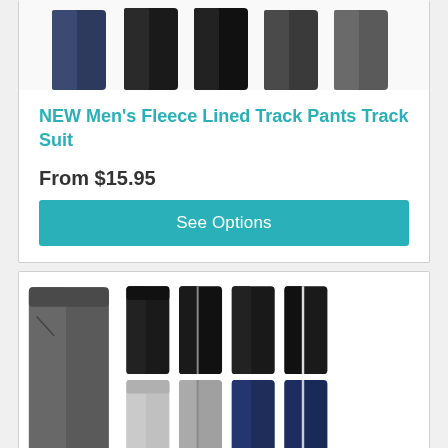[Figure (photo): Multiple track pants shown in navy, black, and gray colors displayed from front and side views - top portion of the image cropped at top of page]
NEW Men's Fleece Lined Track Pants Track Suit
From $15.95
See Options
[Figure (photo): Multiple track/sweat pants in various colors: large charcoal gray on left, smaller views of black with stripe, black, light gray, gray with stripe, and navy blue with stripe pants]